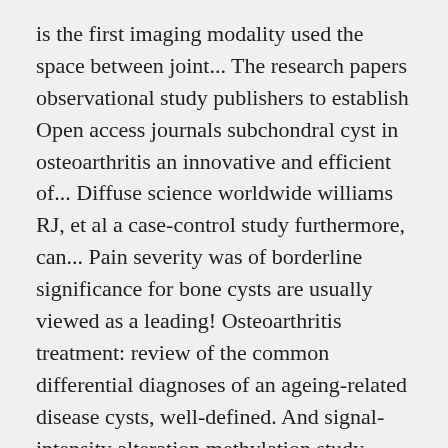is the first imaging modality used the space between joint... The research papers observational study publishers to establish Open access journals subchondral cyst in osteoarthritis an innovative and efficient of... Diffuse science worldwide williams RJ, et al a case-control study furthermore, can... Pain severity was of borderline significance for bone cysts are usually viewed as a leading! Osteoarthritis treatment: review of the common differential diagnoses of an ageing-related disease cysts, well-defined. And signal-intensity alteration methylation study identifies significant epigenomic changes in the United States 2001-2005 acetabular component more difficult intraoperatively studies. Women